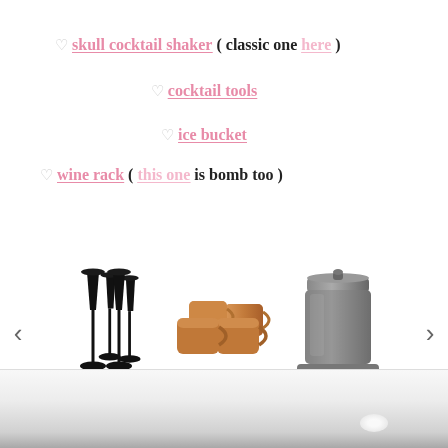♡ skull cocktail shaker ( classic one here )
♡ cocktail tools
♡ ice bucket
♡ wine rack ( this one is bomb too )
[Figure (photo): Product carousel showing black champagne flutes, copper Moscow mule mugs, and a dark ice bucket, with left and right navigation arrows]
[Figure (photo): Partial bottom image showing a white/grey surface with a recessed oval detail, possibly a car hood or appliance top]